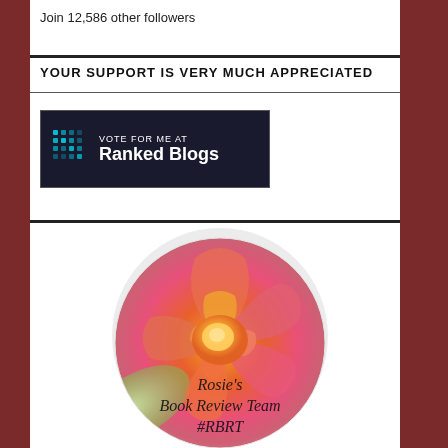Join 12,586 other followers
YOUR SUPPORT IS VERY MUCH APPRECIATED
[Figure (logo): Vote for me at Ranked Blogs badge button with teal dot-grid icon on dark background]
[Figure (photo): Close-up circular image of an orange and pink rose with text overlaid: Rosie's Book Review Team #RBRT]